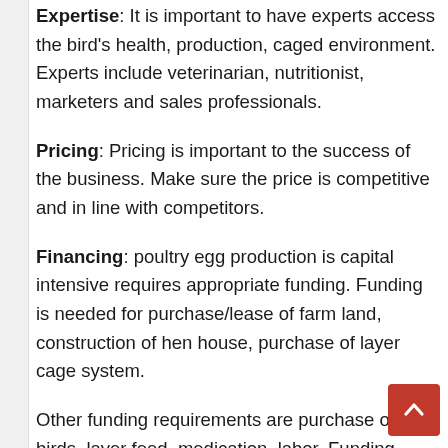Expertise: It is important to have experts access the bird's health, production, caged environment. Experts include veterinarian, nutritionist, marketers and sales professionals.
Pricing: Pricing is important to the success of the business. Make sure the price is competitive and in line with competitors.
Financing: poultry egg production is capital intensive requires appropriate funding. Funding is needed for purchase/lease of farm land, construction of hen house, purchase of layer cage system.
Other funding requirements are purchase of birds, layer feed, medication, labor. Funding sources are micro-finance banks, bank of